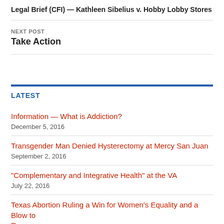Legal Brief (CFI) — Kathleen Sibelius v. Hobby Lobby Stores
NEXT POST
Take Action
LATEST
Information — What is Addiction?
December 5, 2016
Transgender Man Denied Hysterectomy at Mercy San Juan
September 2, 2016
"Complementary and Integrative Health" at the VA
July 22, 2016
Texas Abortion Ruling a Win for Women's Equality and a Blow to...